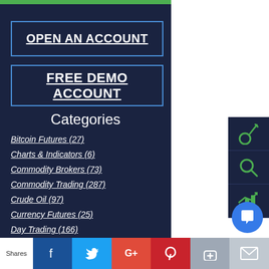OPEN AN ACCOUNT
FREE DEMO ACCOUNT
Categories
Bitcoin Futures (27)
Charts & Indicators (6)
Commodity Brokers (73)
Commodity Trading (287)
Crude Oil (97)
Currency Futures (25)
Day Trading (166)
Shares | Facebook | Twitter | Google+ | Pinterest | Like | Email